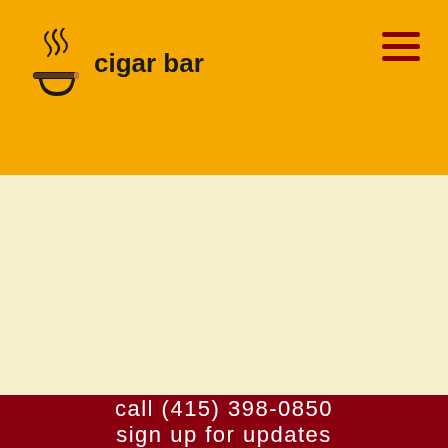cigar bar
call (415) 398-0850
sign up for updates